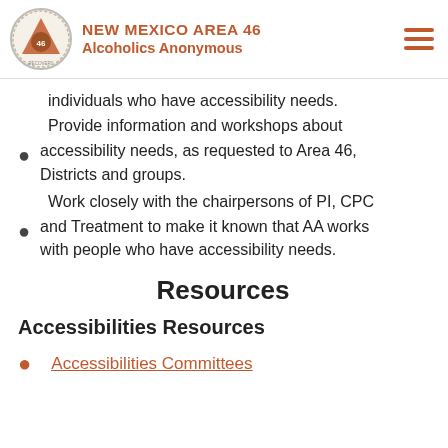NEW MEXICO AREA 46 Alcoholics Anonymous
individuals who have accessibility needs. Provide information and workshops about accessibility needs, as requested to Area 46, Districts and groups.
Work closely with the chairpersons of PI, CPC and Treatment to make it known that AA works with people who have accessibility needs.
Resources
Accessibilities Resources
Accessibilities Committees